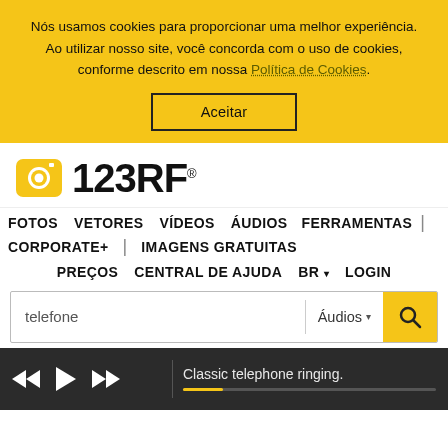Nós usamos cookies para proporcionar uma melhor experiência. Ao utilizar nosso site, você concorda com o uso de cookies, conforme descrito em nossa Política de Cookies.
Aceitar
[Figure (logo): 123RF logo with yellow camera icon and bold black text '123RF']
FOTOS  VETORES  VÍDEOS  ÁUDIOS  FERRAMENTAS  |
CORPORATE+  |  IMAGENS GRATUITAS
PREÇOS  CENTRAL DE AJUDA  BR  LOGIN
telefone
Áudios
Classic telephone ringing.